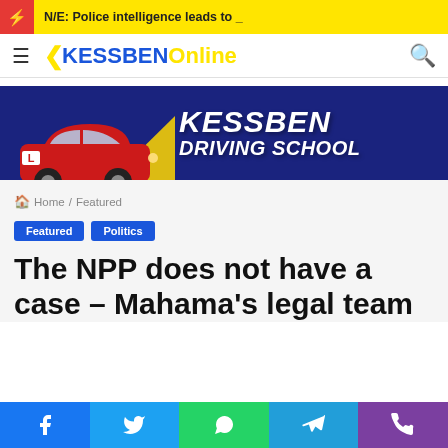N/E: Police intelligence leads to _
[Figure (logo): KessbenOnline logo with hamburger menu and search icon in navigation bar]
[Figure (illustration): Kessben Driving School advertisement banner with red car and blue background showing KESSBEN DRIVING SCHOOL text]
Home / Featured
Featured   Politics
The NPP does not have a case – Mahama's legal team
Facebook  Twitter  WhatsApp  Telegram  Phone